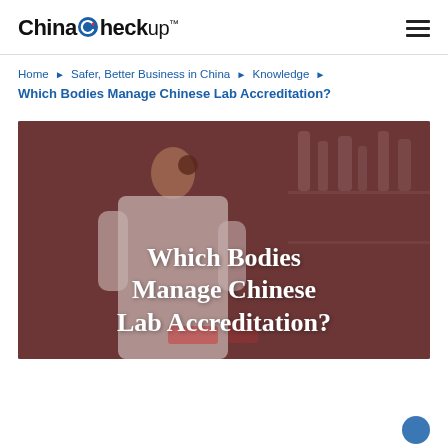China Checkup
Home ▶ Safer, Better Business in China ▶ Knowledge ▶ Which Bodies Manage Chinese Lab Accreditation?
[Figure (photo): A laboratory scientist in a white coat working at a bench with glassware and equipment, with a dark reddish-brown overlay tint. White text overlay reads: Which Bodies Manage Chinese Lab Accreditation?]